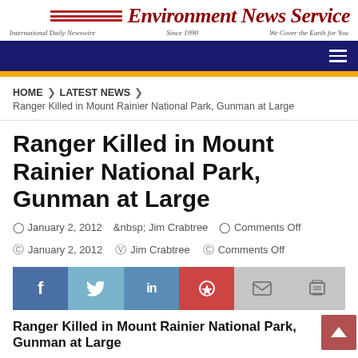Environment News Service — International Daily Newswire · Since 1990 · We Cover the Earth for You
HOME > LATEST NEWS > Ranger Killed in Mount Rainier National Park, Gunman at Large
Ranger Killed in Mount Rainier National Park, Gunman at Large
January 2, 2012  Jim Crabtree  Comments Off
[Figure (infographic): Social share bar with Facebook, Twitter, LinkedIn, Pinterest, Email, and Print buttons]
Ranger Killed in Mount Rainier National Park, Gunman at Large